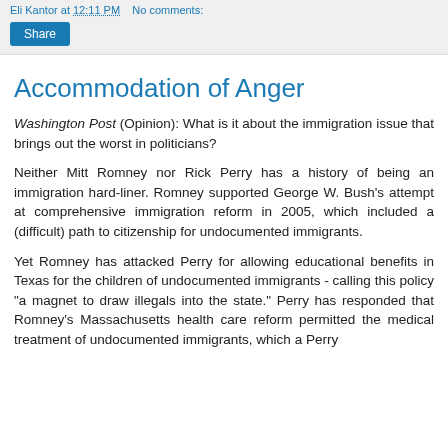Eli Kantor at 12:11 PM   No comments:
Accommodation of Anger
Washington Post (Opinion): What is it about the immigration issue that brings out the worst in politicians?
Neither Mitt Romney nor Rick Perry has a history of being an immigration hard-liner. Romney supported George W. Bush's attempt at comprehensive immigration reform in 2005, which included a (difficult) path to citizenship for undocumented immigrants.
Yet Romney has attacked Perry for allowing educational benefits in Texas for the children of undocumented immigrants - calling this policy "a magnet to draw illegals into the state." Perry has responded that Romney's Massachusetts health care reform permitted the medical treatment of undocumented immigrants, which a Perry